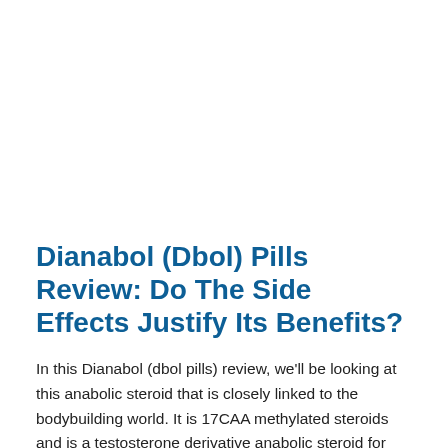Dianabol (Dbol) Pills Review: Do The Side Effects Justify Its Benefits?
In this Dianabol (dbol pills) review, we'll be looking at this anabolic steroid that is closely linked to the bodybuilding world. It is 17CAA methylated steroids and is a testosterone derivative anabolic steroid for oral use. Dianabol is among the only anabolic compounds